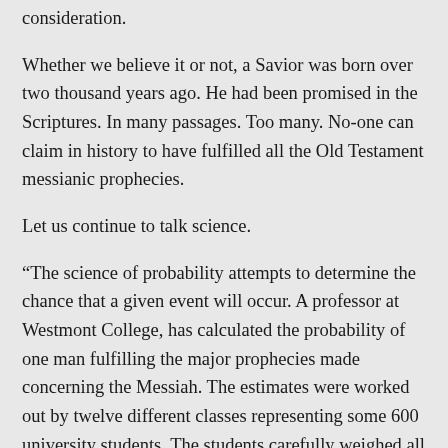consideration.
Whether we believe it or not, a Savior was born over two thousand years ago. He had been promised in the Scriptures. In many passages. Too many. No-one can claim in history to have fulfilled all the Old Testament messianic prophecies.
Let us continue to talk science.
“The science of probability attempts to determine the chance that a given event will occur. A professor at Westmont College, has calculated the probability of one man fulfilling the major prophecies made concerning the Messiah. The estimates were worked out by twelve different classes representing some 600 university students. The students carefully weighed all the factors, discussed each prophecy at length, and examined the various circumstances which might